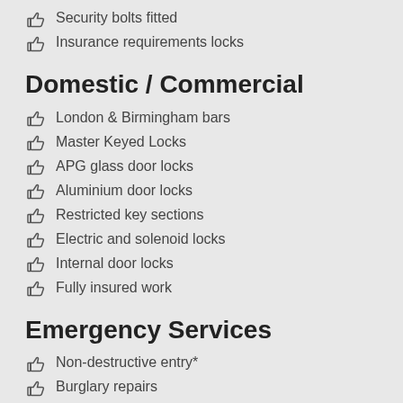Security bolts fitted
Insurance requirements locks
Domestic / Commercial
London & Birmingham bars
Master Keyed Locks
APG glass door locks
Aluminium door locks
Restricted key sections
Electric and solenoid locks
Internal door locks
Fully insured work
Emergency Services
Non-destructive entry*
Burglary repairs
Domestic & commercial
Door Repair & light Carpentry
Lock opening / lockouts